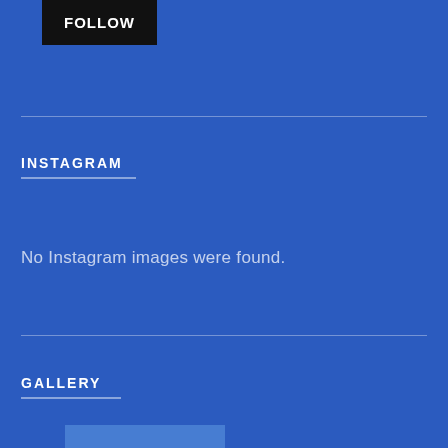FOLLOW
INSTAGRAM
No Instagram images were found.
GALLERY